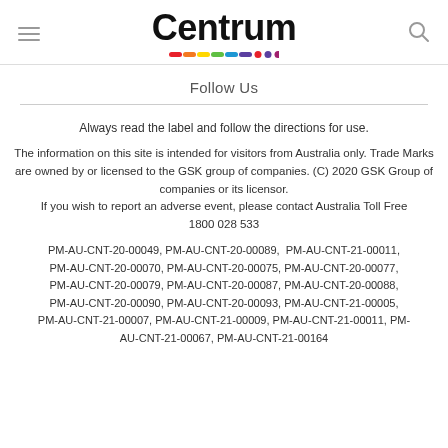Centrum
Follow Us
Always read the label and follow the directions for use.
The information on this site is intended for visitors from Australia only. Trade Marks are owned by or licensed to the GSK group of companies. (C) 2020 GSK Group of companies or its licensor. If you wish to report an adverse event, please contact Australia Toll Free 1800 028 533
PM-AU-CNT-20-00049, PM-AU-CNT-20-00089, PM-AU-CNT-21-00011, PM-AU-CNT-20-00070, PM-AU-CNT-20-00075, PM-AU-CNT-20-00077, PM-AU-CNT-20-00079, PM-AU-CNT-20-00087, PM-AU-CNT-20-00088, PM-AU-CNT-20-00090, PM-AU-CNT-20-00093, PM-AU-CNT-21-00005, PM-AU-CNT-21-00007, PM-AU-CNT-21-00009, PM-AU-CNT-21-00011, PM-AU-CNT-21-00067, PM-AU-CNT-21-00164